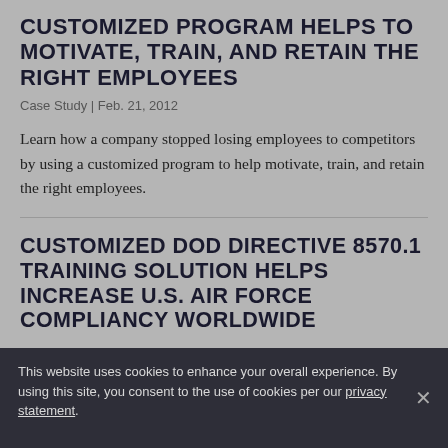CUSTOMIZED PROGRAM HELPS TO MOTIVATE, TRAIN, AND RETAIN THE RIGHT EMPLOYEES
Case Study | Feb. 21, 2012
Learn how a company stopped losing employees to competitors by using a customized program to help motivate, train, and retain the right employees.
CUSTOMIZED DOD DIRECTIVE 8570.1 TRAINING SOLUTION HELPS INCREASE U.S. AIR FORCE COMPLIANCY WORLDWIDE
This website uses cookies to enhance your overall experience. By using this site, you consent to the use of cookies per our privacy statement.